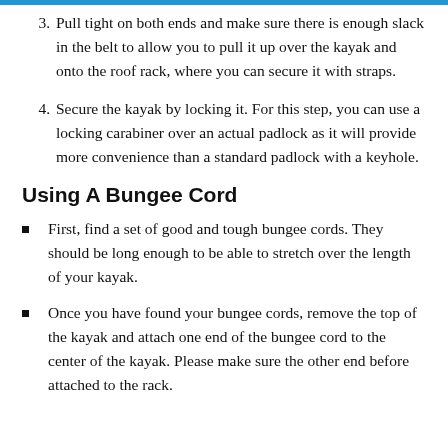3. Pull tight on both ends and make sure there is enough slack in the belt to allow you to pull it up over the kayak and onto the roof rack, where you can secure it with straps.
4. Secure the kayak by locking it. For this step, you can use a locking carabiner over an actual padlock as it will provide more convenience than a standard padlock with a keyhole.
Using A Bungee Cord
First, find a set of good and tough bungee cords. They should be long enough to be able to stretch over the length of your kayak.
Once you have found your bungee cords, remove the top of the kayak and attach one end of the bungee cord to the center of the kayak. Please make sure the other end before attached to the rack.